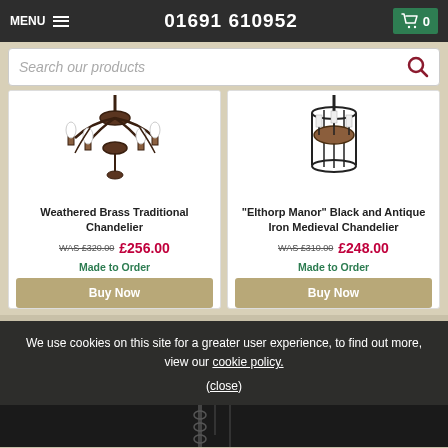MENU  01691 610952  [cart] 0
Search our products
[Figure (photo): Weathered brass traditional chandelier with multiple candle arms]
Weathered Brass Traditional Chandelier
WAS £320.00  £256.00
Made to Order
Buy Now
[Figure (photo): Elthorp Manor black and antique iron medieval chandelier in cage style]
"Elthorp Manor" Black and Antique Iron Medieval Chandelier
WAS £310.00  £248.00
Made to Order
Buy Now
We use cookies on this site for a greater user experience, to find out more, view our cookie policy.
(close)